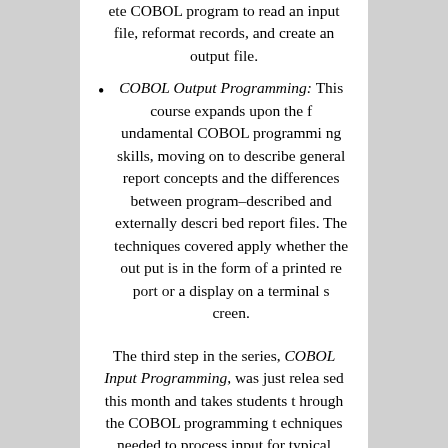ete COBOL program to read an input file, reformat records, and create an output file.
COBOL Output Programming: This course expands upon the fundamental COBOL programming skills, moving on to describe general report concepts and the differences between program-described and externally described report files. The techniques covered apply whether the output is in the form of a printed report or a display on a terminal screen.
The third step in the series, COBOL Input Programming, was just released this month and takes students through the COBOL programming techniques needed to process input for typical business applications. Students will be introduced to the